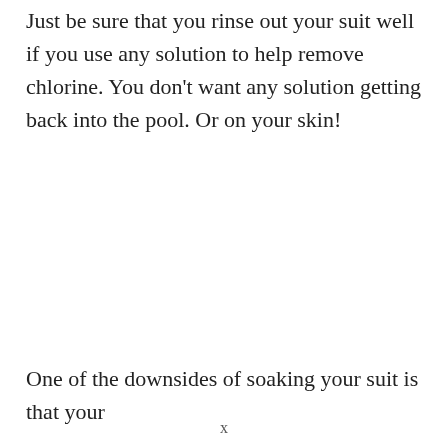Just be sure that you rinse out your suit well if you use any solution to help remove chlorine. You don't want any solution getting back into the pool. Or on your skin!
One of the downsides of soaking your suit is that your
x